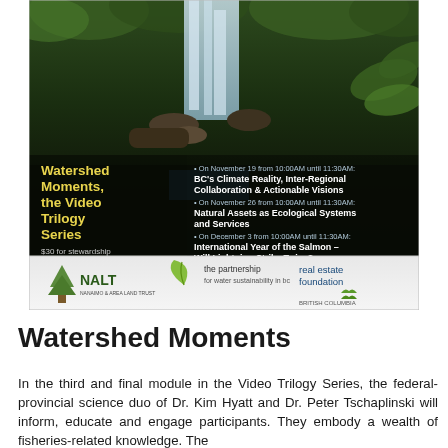[Figure (infographic): Watershed Moments, the Video Trilogy Series event poster showing a waterfall/forest background with three session listings: November 19 (BC's Climate Reality, Inter-Regional Collaboration & Actionable Visions), November 26 (Natural Assets as Ecological Systems and Services), December 3 (International Year of the Salmon – Will Lightning Strike Twice?). Pricing: $30 for stewardship groups; $50 for others. Logos at bottom: NALT (Nanaimo Area Land Trust), the partnership for water sustainability in bc, real estate foundation British Columbia.]
Watershed Moments
In the third and final module in the Video Trilogy Series, the federal-provincial science duo of Dr. Kim Hyatt and Dr. Peter Tschaplinski will inform, educate and engage participants. They embody a wealth of fisheries-related knowledge. The